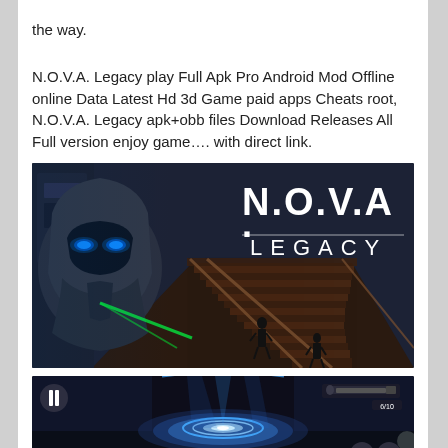the way.
N.O.V.A. Legacy play Full Apk Pro Android Mod Offline online Data Latest Hd 3d Game paid apps Cheats root, N.O.V.A. Legacy apk+obb files Download Releases All Full version enjoy game.... with direct link.
[Figure (screenshot): N.O.V.A. Legacy game screenshot showing a sci-fi armored robot on the left and the N.O.V.A. LEGACY logo on the right, with soldiers on a bridge in the background.]
[Figure (screenshot): N.O.V.A. Legacy game screenshot showing a pause button, glowing blue circular device, weapons at top right, and UI buttons at bottom right.]